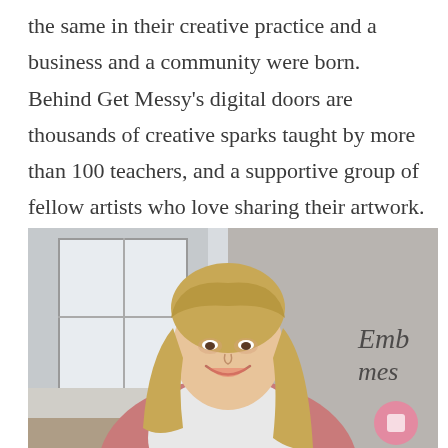the same in their creative practice and a business and a community were born. Behind Get Messy's digital doors are thousands of creative sparks taught by more than 100 teachers, and a supportive group of fellow artists who love sharing their artwork.
[Figure (photo): A smiling young woman with long blonde hair wearing a pink cardigan, seated in a bright studio space with white brick walls and a window. In the background, partial text reading 'Emb mes' is visible in cursive.]